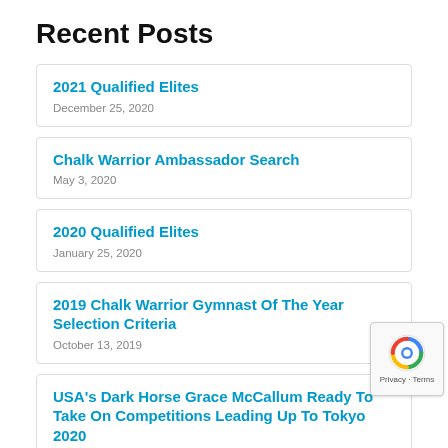Recent Posts
2021 Qualified Elites
December 25, 2020
Chalk Warrior Ambassador Search
May 3, 2020
2020 Qualified Elites
January 25, 2020
2019 Chalk Warrior Gymnast Of The Year Selection Criteria
October 13, 2019
USA's Dark Horse Grace McCallum Ready To Take On Competitions Leading Up To Tokyo 2020